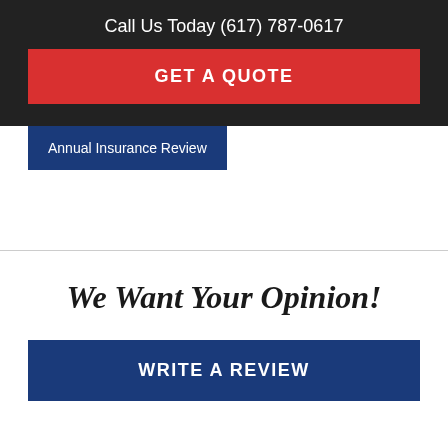Call Us Today (617) 787-0617
GET A QUOTE
Annual Insurance Review
We Want Your Opinion!
WRITE A REVIEW